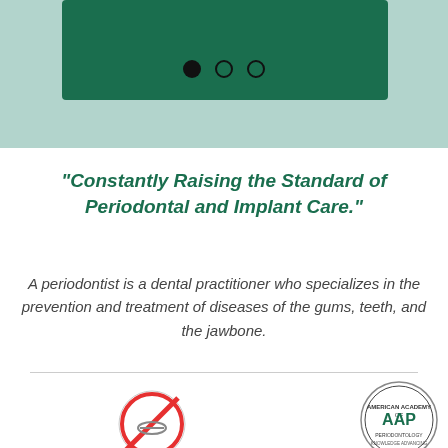[Figure (screenshot): Dark green banner with three navigation dots (one filled, two outlined) on a light teal background]
"Constantly Raising the Standard of Periodontal and Implant Care."
A periodontist is a dental practitioner who specializes in the prevention and treatment of diseases of the gums, teeth, and the jawbone.
[Figure (infographic): Book An Appointment Now button with tooth/check icon on green rounded rectangle, flanked by two circular logos at bottom]
[Figure (logo): AAP American Academy of Periodontology circular logo on right side]